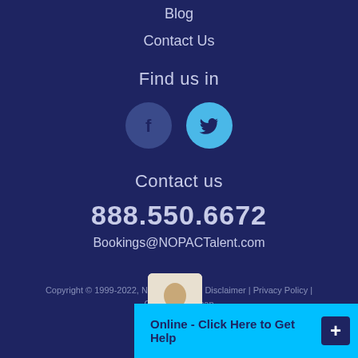Blog
Contact Us
Find us in
[Figure (infographic): Facebook and Twitter social media icon circles]
Contact us
888.550.6672
Bookings@NOPACTalent.com
Copyright © 1999-2022, NOPAC Talent | Disclaimer | Privacy Policy | Contact | Sitemap
[Figure (infographic): Online chat widget with avatar image and 'Online - Click Here to Get Help' button]